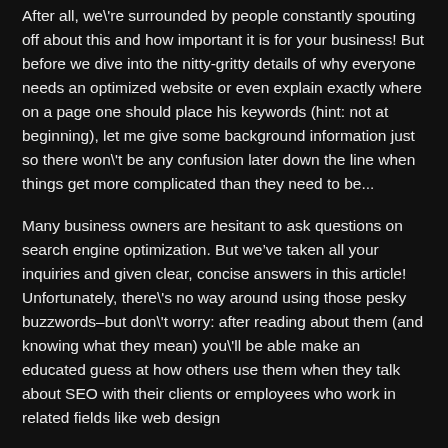After all, we're surrounded by people constantly spouting off about this and how important it is for your business! But before we dive into the nitty-gritty details of why everyone needs an optimized website or even explain exactly where on a page one should place his keywords (hint: not at beginning), let me give some background information just so there won't be any confusion later down the line when things get more complicated than they need to be...
Many business owners are hesitant to ask questions on search engine optimization. But we've taken all your inquiries and given clear, concise answers in this article! Unfortunately, there's no way around using those pesky buzzwords–but don't worry: after reading about them (and knowing what they mean) you'll be able make an educated guess at how others use them when they talk about SEO with their clients or employees who work in related fields like web design